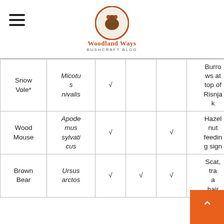Woodland Ways Bushcraft Blog
| Common Name | Scientific Name | Tracks | Scat | Feeding Sign | Notes |
| --- | --- | --- | --- | --- | --- |
| Snow Vole* | Micotus nivalis | √ |  |  | Burrows at top of Risnjak |
| Wood Mouse | Apodemus sylvaticus | √ |  | √ | Hazel nut feeding sign |
| Brown Bear | Ursus arctos | √ | √ | √ | Scat, tracks and hair |